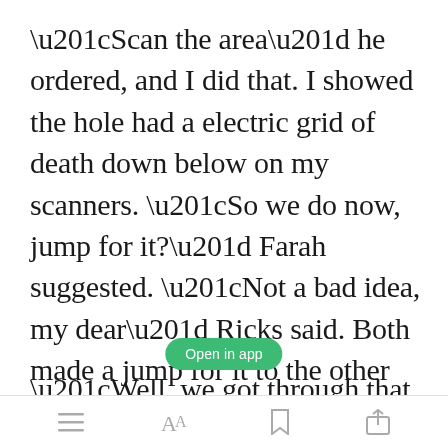“Scan the area” he ordered, and I did that. I showed the hole had a electric grid of death down below on my scanners. “So we do now, jump for it?” Farah suggested. “Not a bad idea, my dear” Ricks said. Both made a jump for it to the other side, successfully, both being talented athletes.
[Figure (screenshot): Green rounded button labeled 'Open in app']
“Well, we got through that one”
App navigation bar with menu, font, bookmark, and share icons